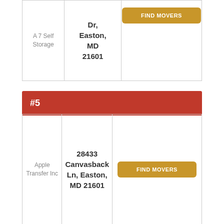| Name | Address | Action |
| --- | --- | --- |
| A 7 Self Storage | Dr, Easton, MD 21601 | FIND MOVERS |
#5
| Name | Address | Action |
| --- | --- | --- |
| Apple Transfer Inc | 28433 Canvasback Ln, Easton, MD 21601 | FIND MOVERS |